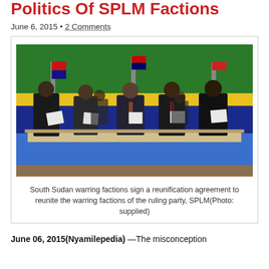Politics Of SPLM Factions
June 6, 2015 • 2 Comments
[Figure (photo): South Sudan warring factions leaders standing at a table signing a reunification agreement, with colorful draping and flags in the background.]
South Sudan warring factions sign a reunification agreement to reunite the warring factions of the ruling party, SPLM(Photo: supplied)
June 06, 2015(Nyamilepedia) —The misconception